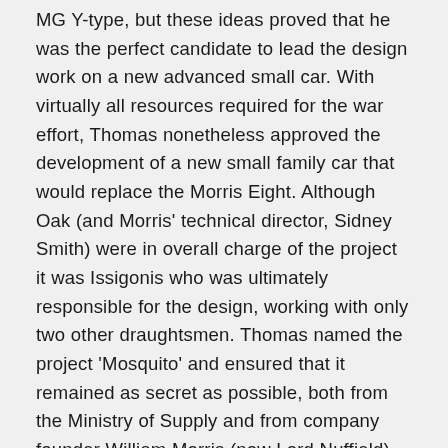MG Y-type, but these ideas proved that he was the perfect candidate to lead the design work on a new advanced small car. With virtually all resources required for the war effort, Thomas nonetheless approved the development of a new small family car that would replace the Morris Eight. Although Oak (and Morris' technical director, Sidney Smith) were in overall charge of the project it was Issigonis who was ultimately responsible for the design, working with only two other draughtsmen. Thomas named the project 'Mosquito' and ensured that it remained as secret as possible, both from the Ministry of Supply and from company founder William Morris (now Lord Nuffield), who was still chairman of Morris Motors and, it was widely expected, would not look favourably on Issigonis' radical ideas. Issigonis' overall concept was to produce a practical, economical and affordable car for the general public that would equal, if not surpass, the convenience and design quality of a more expensive car. In later years he summed up his approach to the Minor: that he wanted to design an economy car that